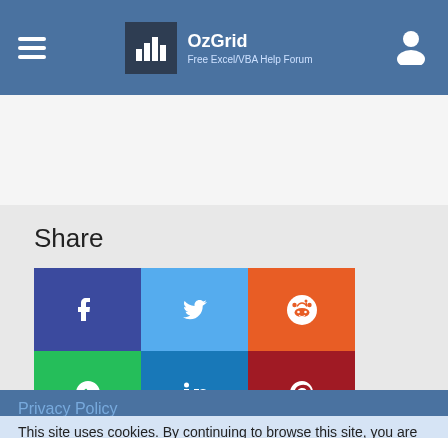OzGrid — Free Excel/VBA Help Forum
Share
[Figure (infographic): Social sharing buttons: Facebook, Twitter, Reddit, WhatsApp, LinkedIn, Pinterest, XING]
Privacy Policy
This site uses cookies. By continuing to browse this site, you are
[Figure (infographic): Topgolf advertisement banner with logo and icons]